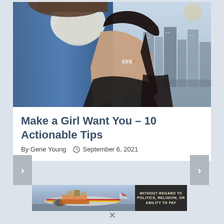[Figure (photo): A couple embracing outdoors with a city skyline in the background. A man in a denim jacket with sherpa collar and a smiling woman in a dark jacket.]
Make a Girl Want You – 10 Actionable Tips
By Gene Young   September 6, 2021
[Figure (photo): Advertisement banner showing an airplane being loaded with cargo, with text reading WITHOUT REGARD TO POLITICS, RELIGION, OR ABILITY TO PAY.]